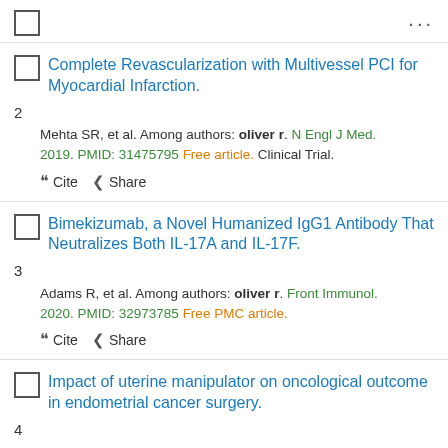2. Complete Revascularization with Multivessel PCI for Myocardial Infarction. Mehta SR, et al. Among authors: oliver r. N Engl J Med. 2019. PMID: 31475795 Free article. Clinical Trial.
3. Bimekizumab, a Novel Humanized IgG1 Antibody That Neutralizes Both IL-17A and IL-17F. Adams R, et al. Among authors: oliver r. Front Immunol. 2020. PMID: 32973785 Free PMC article.
4. Impact of uterine manipulator on oncological outcome in endometrial cancer surgery.